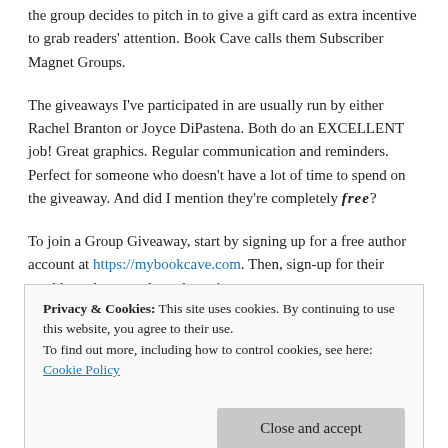the group decides to pitch in to give a gift card as extra incentive to grab readers' attention. Book Cave calls them Subscriber Magnet Groups.
The giveaways I've participated in are usually run by either Rachel Branton or Joyce DiPastena. Both do an EXCELLENT job! Great graphics. Regular communication and reminders. Perfect for someone who doesn't have a lot of time to spend on the giveaway. And did I mention they're completely free?
To join a Group Giveaway, start by signing up for a free author account at https://mybookcave.com. Then, sign-up for their weekly author newsletter by going to https://mybookcave.com/authorsandpublishers/ and enter your
Privacy & Cookies: This site uses cookies. By continuing to use this website, you agree to their use.
To find out more, including how to control cookies, see here: Cookie Policy
giveaways is through Book Cave's FB Group: